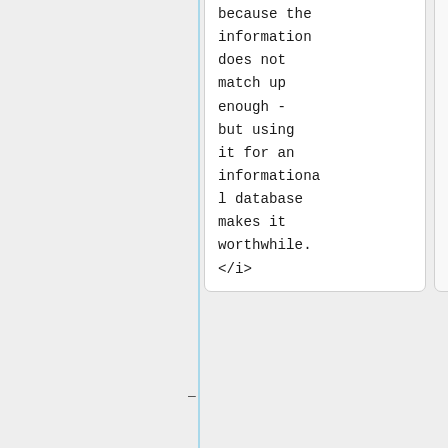because the information does not match up enough - but using it for an informational database makes it worthwhile. </i>
because the information does not match up enough - but using it for an informational database makes it worthwhile. </i>
<b>Sheryl Ballenger, M.Ed.,</b> <i>Director of Student Support Services